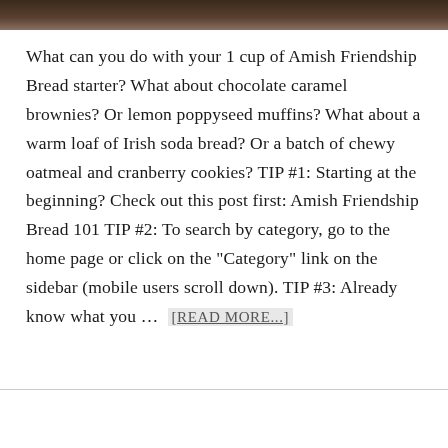[Figure (photo): Partial photo strip at the top of the page showing a dark brown/food-related image]
What can you do with your 1 cup of Amish Friendship Bread starter? What about chocolate caramel brownies? Or lemon poppyseed muffins? What about a warm loaf of Irish soda bread? Or a batch of chewy oatmeal and cranberry cookies? TIP #1: Starting at the beginning? Check out this post first: Amish Friendship Bread 101 TIP #2: To search by category, go to the home page or click on the "Category" link on the sidebar (mobile users scroll down). TIP #3: Already know what you … [READ MORE...]